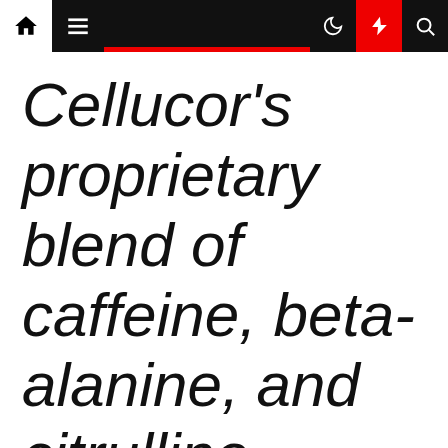Navigation bar with home, menu, dark mode, lightning/boost, and search icons
Cellucor's proprietary blend of caffeine, beta-alanine, and citrulline malate